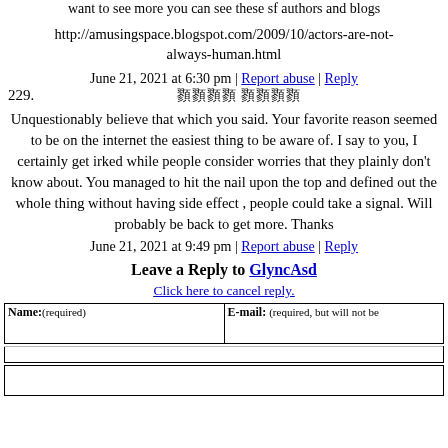want to see more you can see these sf authors and blogs
http://amusingspace.blogspot.com/2009/10/actors-are-not-always-human.html
June 21, 2021 at 6:30 pm | Report abuse | Reply
229. [username in non-latin script]
Unquestionably believe that which you said. Your favorite reason seemed to be on the internet the easiest thing to be aware of. I say to you, I certainly get irked while people consider worries that they plainly don't know about. You managed to hit the nail upon the top and defined out the whole thing without having side effect , people could take a signal. Will probably be back to get more. Thanks
June 21, 2021 at 9:49 pm | Report abuse | Reply
Leave a Reply to GlyncAsd
Click here to cancel reply.
| Name:(required) | E-mail: (required, but will not be |
| --- | --- |
|  |  |